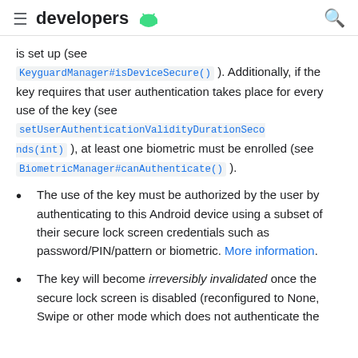≡ developers [android logo] Q
is set up (see KeyguardManager#isDeviceSecure() ). Additionally, if the key requires that user authentication takes place for every use of the key (see setUserAuthenticationValidityDurationSeconds(int) ), at least one biometric must be enrolled (see BiometricManager#canAuthenticate() ).
The use of the key must be authorized by the user by authenticating to this Android device using a subset of their secure lock screen credentials such as password/PIN/pattern or biometric. More information.
The key will become irreversibly invalidated once the secure lock screen is disabled (reconfigured to None, Swipe or other mode which does not authenticate the